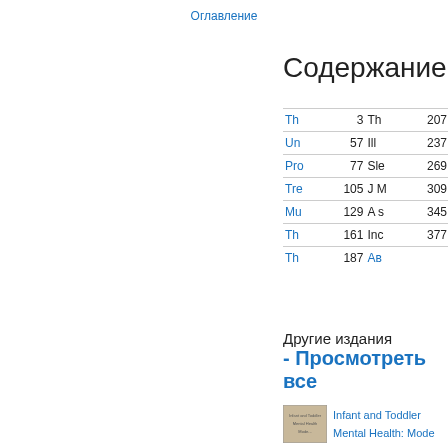Оглавление
Содержание
|  |  |  |  |
| --- | --- | --- | --- |
| Th | 3 | Th | 207 |
| Un | 57 | Ill | 237 |
| Pro | 77 | Sle | 269 |
| Tre | 105 | J M | 309 |
| Mu | 129 | A s | 345 |
| Th | 161 | Inc | 377 |
| Th | 187 | Ав |  |
Другие издания - Просмотреть все
Infant and Toddler Mental Health: Mode